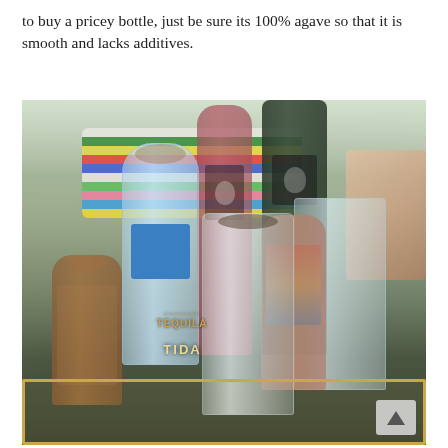to buy a pricey bottle, just be sure its 100% agave so that it is smooth and lacks additives.
[Figure (photo): A collection of tequila and liquor bottles arranged on a gold bar tray, including a clear Patron-style bottle, a blue-labeled tequila bottle with text 'TEQUILA' and 'TIDA', a dark wine bottle, a dark liquor bottle, a flat square clear bottle, a small brown bottle, and a paisley-decorated bottle. Colorful striped blanket and floral pillow visible in the background.]